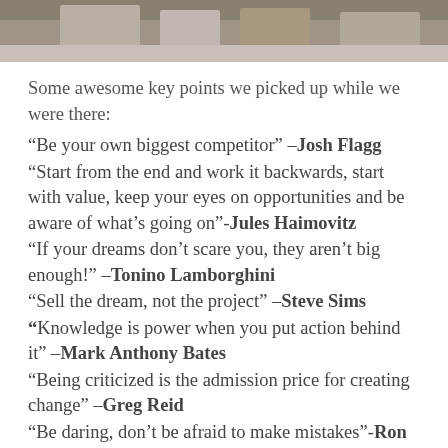[Figure (photo): Partial photo of people standing, cropped at the top of the page showing legs and lower body]
Some awesome key points we picked up while we were there:
“Be your own biggest competitor” –Josh Flagg
“Start from the end and work it backwards, start with value, keep your eyes on opportunities and be aware of what’s going on”-Jules Haimovitz
“If your dreams don’t scare you, they aren’t big enough!” –Tonino Lamborghini
“Sell the dream, not the project” –Steve Sims
“Knowledge is power when you put action behind it” –Mark Anthony Bates
“Being criticized is the admission price for creating change” –Greg Reid
“Be daring, don’t be afraid to make mistakes”-Ron Klein
“Don’t talk about it; be about it. I have so many people that just blah, blah, blah and ‘I have this great idea and this great idea’ and they have that great idea for years